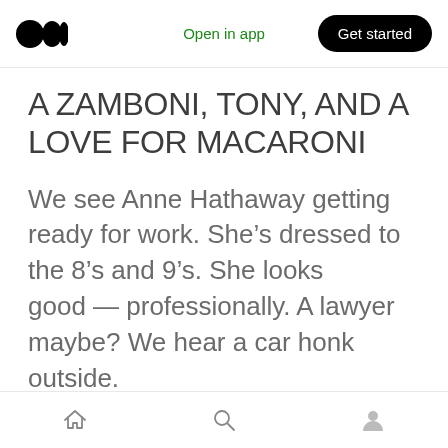Open in app | Get started
A ZAMBONI, TONY, AND A LOVE FOR MACARONI
We see Anne Hathaway getting ready for work. She's dressed to the 8's and 9's. She looks good — professionally. A lawyer maybe? We hear a car honk outside.
Home | Search | Profile